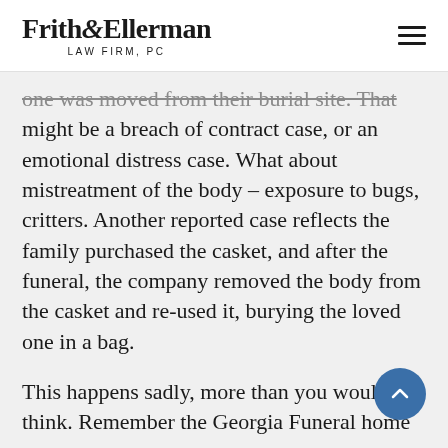Frith&Ellerman LAW FIRM, PC
one was moved from their burial site. That might be a breach of contract case, or an emotional distress case. What about mistreatment of the body – exposure to bugs, critters. Another reported case reflects the family purchased the casket, and after the funeral, the company removed the body from the casket and re-used it, burying the loved one in a bag.
This happens sadly, more than you would think. Remember the Georgia Funeral home